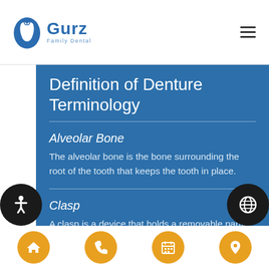Gurz Family Dental
Definition of Denture Terminology
Alveolar Bone
The alveolar bone is the bone surrounding the root of the tooth that keeps the tooth in place.
Clasp
A clasp is a device that holds a removable partial denture prosthesis to the teeth.